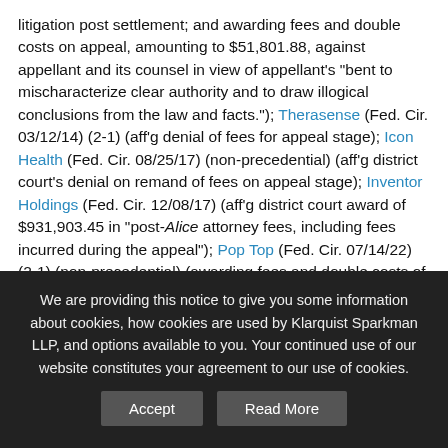litigation post settlement; and awarding fees and double costs on appeal, amounting to $51,801.88, against appellant and its counsel in view of appellant's "bent to mischaracterize clear authority and to draw illogical conclusions from the law and facts."); Therasense (Fed. Cir. 03/12/14) (2-1) (aff'g denial of fees for appeal stage); Icon Health (Fed. Cir. 08/25/17) (non-precedential) (aff'g district court's denial on remand of fees on appeal stage); Inventor Holdings (Fed. Cir. 12/08/17) (aff'g district court award of $931,903.45 in "post-Alice attorney fees, including fees incurred during the appeal"); Pop Top (Fed. Cir. 07/14/22) (2-1) (non-precedential) (awarding fees and double costs of $107K for
We are providing this notice to give you some information about cookies, how cookies are used by Klarquist Sparkman LLP, and options available to you. Your continued use of our website constitutes your agreement to our use of cookies.